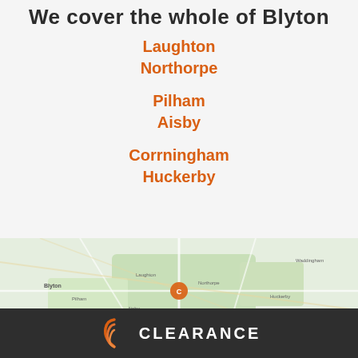We cover the whole of Blyton
Laughton
Northorpe
Pilham
Aisby
Corrningham
Huckerby
[Figure (map): Google Maps view of the Blyton area showing surrounding villages including Laughton, Northorpe, Pilham, Aisby, Corrningham, Huckerby and surrounding area. A clearance company marker is visible near the centre of the map.]
CLEARANCE